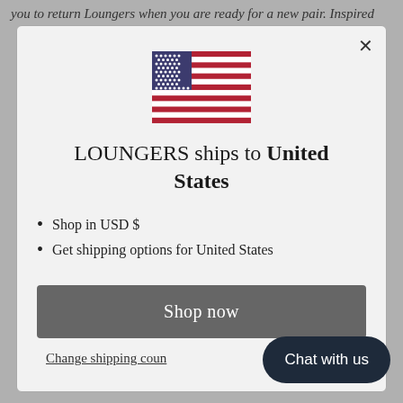you to return Loungers when you are ready for a new pair. Inspired
[Figure (illustration): US flag SVG illustration centered in modal]
LOUNGERS ships to United States
Shop in USD $
Get shipping options for United States
Shop now
Change shipping coun...
Chat with us